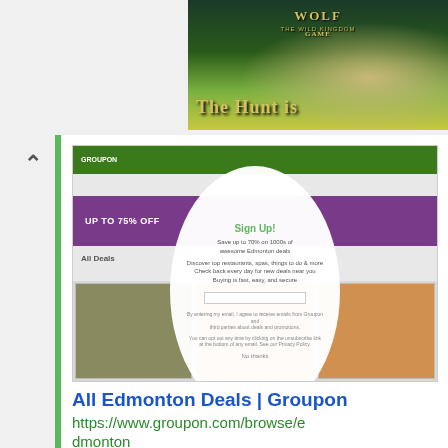[Figure (screenshot): Wolf Game: The Wild Kingdom advertisement banner in top right corner showing wolves in a field with text 'THE HUNT IS']
[Figure (screenshot): Screenshot of Groupon Edmonton deals page with a sign-up popup overlay showing 'Sign Up! Save up to 70% on 1000s of awesome Edmonton deals']
All Edmonton Deals | Groupon
https://www.groupon.com/browse/edmonton
Results 1 - 36 of 588 - 4247 23 Avenue Northwest, Edmonton • 11.6 mi. C$45.